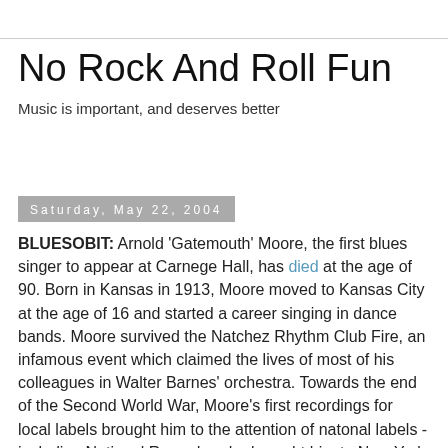No Rock And Roll Fun
Music is important, and deserves better
Saturday, May 22, 2004
BLUESOBIT: Arnold 'Gatemouth' Moore, the first blues singer to appear at Carnege Hall, has died at the age of 90. Born in Kansas in 1913, Moore moved to Kansas City at the age of 16 and started a career singing in dance bands. Moore survived the Natchez Rhythm Club Fire, an infamous event which claimed the lives of most of his colleagues in Walter Barnes' orchestra. Towards the end of the Second World War, Moore's first recordings for local labels brought him to the attention of natonal labels - including National Records, who brought him to New York and Chicago for the sessions where he was to record I Ain't Mad At You, Pretty Baby, Did You Ever Love A Woman? and Christmas Blues, Moore's first major successes. He moved to King Records,